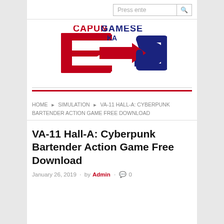[Figure (logo): Capun Gamese Ka logo with stylized C arrow shape in red and blue, text CAPUN GAMESE KA in red and dark blue]
HOME ▶ SIMULATION ▶ VA-11 HALL-A: CYBERPUNK BARTENDER ACTION GAME FREE DOWNLOAD
VA-11 Hall-A: Cyberpunk Bartender Action Game Free Download
January 26, 2019 · by Admin · 0